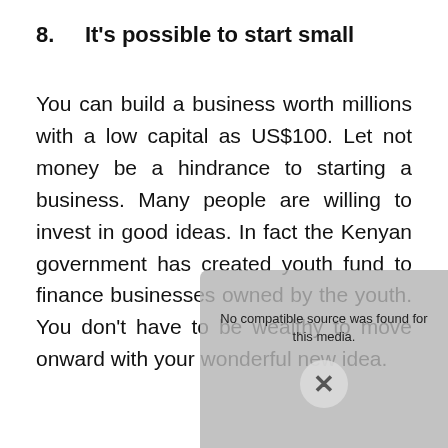8.   It's possible to start small
You can build a business worth millions with a low capital as US$100. Let not money be a hindrance to starting a business. Many people are willing to invest in good ideas. In fact the Kenyan government has created youth fund to finance businesses owned by the youth. You don't have to be wealthy to move onward with your wonderful new idea.